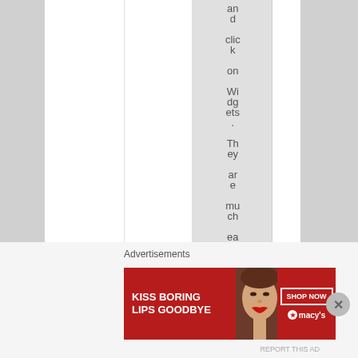and click on Widgets. They are much easier
Advertisements
[Figure (advertisement): Macy's lipstick advertisement: 'KISS BORING LIPS GOODBYE' with a woman's face and lips, SHOP NOW button and Macy's star logo]